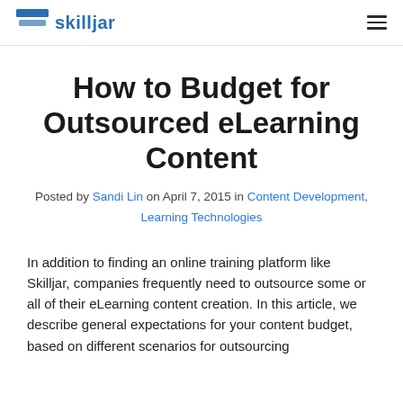skilljar
How to Budget for Outsourced eLearning Content
Posted by Sandi Lin on April 7, 2015 in Content Development, Learning Technologies
In addition to finding an online training platform like Skilljar, companies frequently need to outsource some or all of their eLearning content creation. In this article, we describe general expectations for your content budget, based on different scenarios for outsourcing